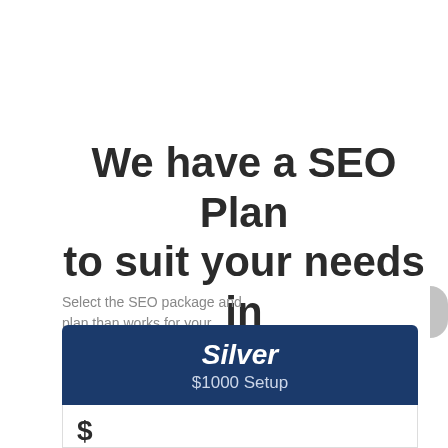We have a SEO Plan to suit your needs in Travis
Select the SEO package and plan than works for your business and let's get started today!
[Figure (illustration): Cyan rounded button with a man's headshot avatar on the left and 'Click to connect' text in white bold font on the right]
| Silver | $1000 Setup |
| --- | --- |